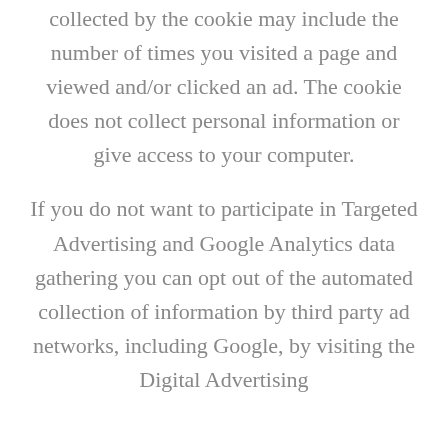collected by the cookie may include the number of times you visited a page and viewed and/or clicked an ad. The cookie does not collect personal information or give access to your computer.
If you do not want to participate in Targeted Advertising and Google Analytics data gathering you can opt out of the automated collection of information by third party ad networks, including Google, by visiting the Digital Advertising